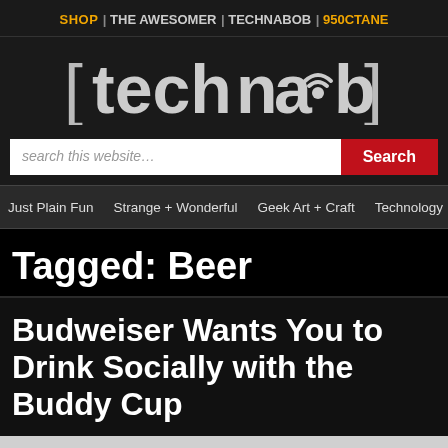SHOP | THE AWESOMER | TECHNABOB | 950CTANE
[Figure (logo): Technabob website logo in white/gray text on dark background with bracket characters and signal icon]
search this website...
Just Plain Fun | Strange + Wonderful | Geek Art + Craft | Technology | Video
Tagged: Beer
Budweiser Wants You to Drink Socially with the Buddy Cup